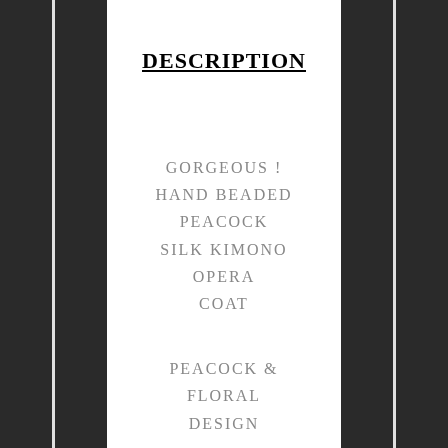DESCRIPTION
GORGEOUS !
HAND BEADED PEACOCK
SILK KIMONO OPERA
COAT
PEACOCK & FLORAL
DESIGN
Cut in a Kimono style it is hand beaded all through/out
HAS BEADED
FRINGE DOWN
THE FRONT AND